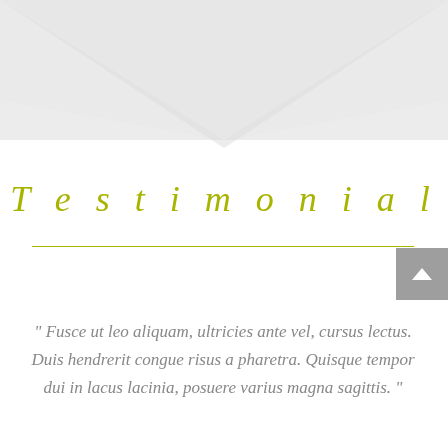[Figure (illustration): Gray decorative chevron/arrow shape pointing downward at top of page]
Testimonial
" Fusce ut leo aliquam, ultricies ante vel, cursus lectus. Duis hendrerit congue risus a pharetra. Quisque tempor dui in lacus lacinia, posuere varius magna sagittis. "